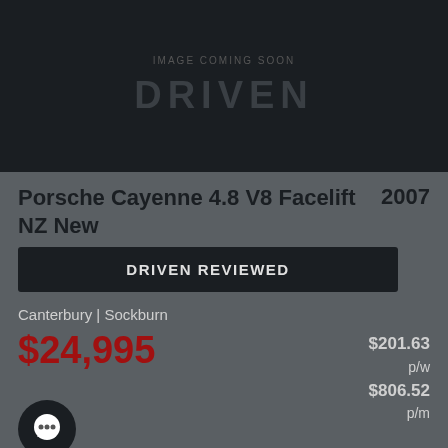[Figure (photo): Dark image placeholder with DRIVEN logo watermark and 'IMAGE COMING SOON' text]
Porsche Cayenne 4.8 V8 Facelift NZ New  2007
DRIVEN REVIEWED
Canterbury | Sockburn
$24,995
$201.63 p/w $806.52 p/m
21,000km  Automatic  Petrol